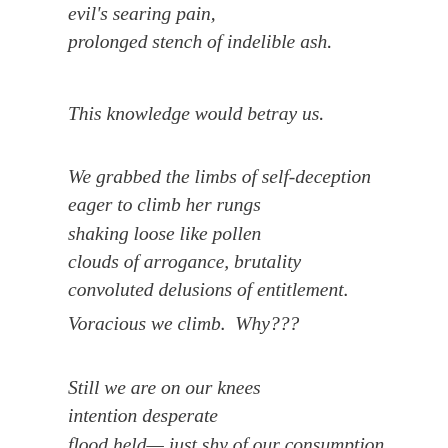evil's searing pain,
prolonged stench of indelible ash.
This knowledge would betray us.
We grabbed the limbs of self-deception
eager to climb her rungs
shaking loose like pollen
clouds of arrogance, brutality
convoluted delusions of entitlement.
Voracious we climb.  Why???
Still we are on our knees
intention desperate
flood held— just shy of our consumption